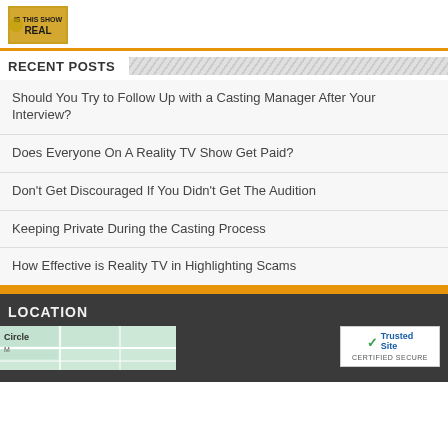[Figure (logo): Partial logo image showing text 'REAL' with gold/yellow styling]
RECENT POSTS
Should You Try to Follow Up with a Casting Manager After Your Interview?
Does Everyone On A Reality TV Show Get Paid?
Don't Get Discouraged If You Didn't Get The Audition
Keeping Private During the Casting Process
How Effective is Reality TV in Highlighting Scams
LOCATION
[Figure (map): Partial street map showing 'Circle' label and partial map tiles in green/white]
[Figure (logo): TrustedSite CERTIFIED SECURE badge]